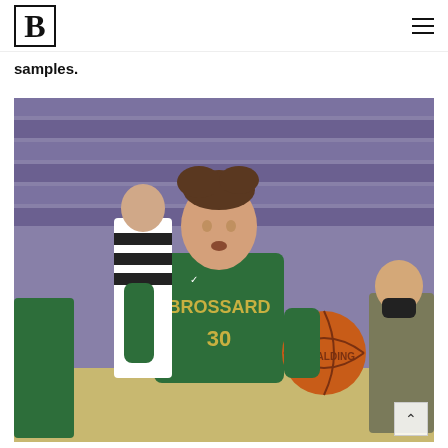B (Brossard logo) | hamburger menu
samples.
[Figure (photo): A young male basketball player wearing a green Brossard #30 jersey dribbling a basketball during a game. A referee in a black and white striped shirt is visible behind him. The bleachers in the background are purple. A spectator with a mask is visible on the right side.]